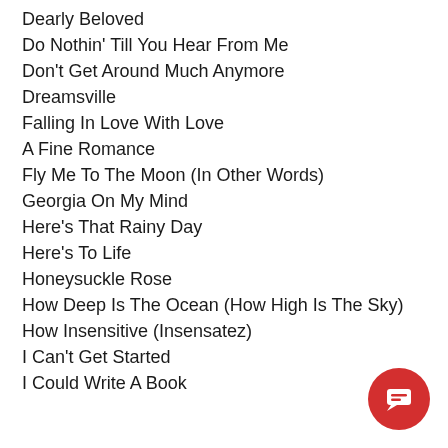Dearly Beloved
Do Nothin' Till You Hear From Me
Don't Get Around Much Anymore
Dreamsville
Falling In Love With Love
A Fine Romance
Fly Me To The Moon (In Other Words)
Georgia On My Mind
Here's That Rainy Day
Here's To Life
Honeysuckle Rose
How Deep Is The Ocean (How High Is The Sky)
How Insensitive (Insensatez)
I Can't Get Started
I Could Write A Book
[Figure (illustration): Red circular chat button with white message icon]